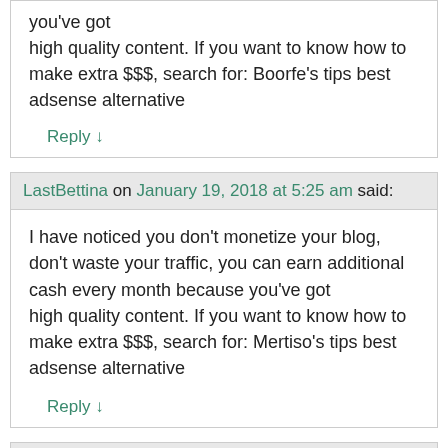you've got high quality content. If you want to know how to make extra $$$, search for: Boorfe's tips best adsense alternative
Reply ↓
LastBettina on January 19, 2018 at 5:25 am said:
I have noticed you don't monetize your blog, don't waste your traffic, you can earn additional cash every month because you've got high quality content. If you want to know how to make extra $$$, search for: Mertiso's tips best adsense alternative
Reply ↓
Reina on March 3, 2018 at 7:21 am said:
I was looking for a recipe for the wild birds here in the UK as we are enjoying (?) a siberian winter which doesn't happen that often all over the country and the birds are struggling. I'm just about to try this.
Reply ↓